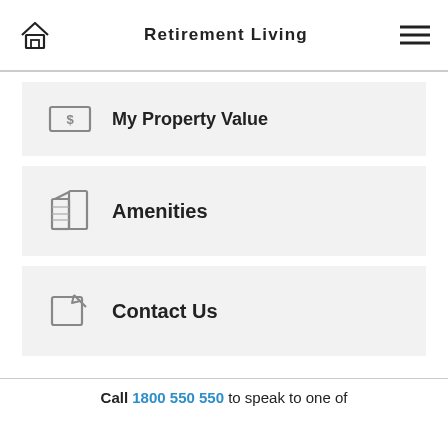Retirement Living
My Property Value
Amenities
Contact Us
Call 1800 550 550 to speak to one of